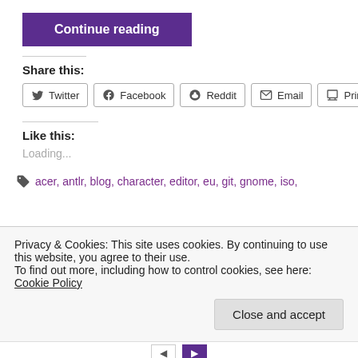Continue reading
Share this:
Twitter Facebook Reddit Email Print
Like this:
Loading...
acer, antlr, blog, character, editor, eu, git, gnome, iso,
Privacy & Cookies: This site uses cookies. By continuing to use this website, you agree to their use. To find out more, including how to control cookies, see here: Cookie Policy
Close and accept